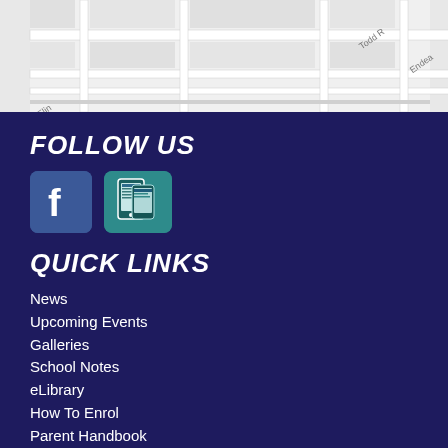[Figure (map): Street map showing Todd Road and Endeavour road area, light grey background with street labels]
FOLLOW US
[Figure (other): Facebook icon button (blue with white F logo) and a mobile app icon button (teal/dark with phone screenshot)]
QUICK LINKS
News
Upcoming Events
Galleries
School Notes
eLibrary
How To Enrol
Parent Handbook
Open Days